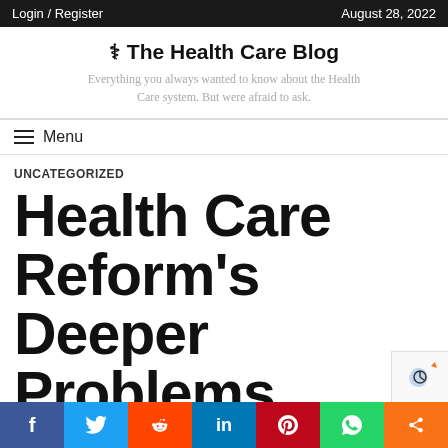Login / Register | August 28, 2022
The Health Care Blog - Everything you always wanted to know about the Health Care system. But were afraid to ask.
Menu
UNCATEGORIZED
Health Care Reform's Deeper Problems